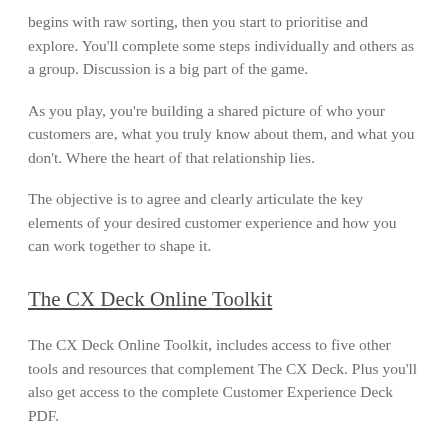begins with raw sorting, then you start to prioritise and explore. You'll complete some steps individually and others as a group. Discussion is a big part of the game.
As you play, you're building a shared picture of who your customers are, what you truly know about them, and what you don't. Where the heart of that relationship lies.
The objective is to agree and clearly articulate the key elements of your desired customer experience and how you can work together to shape it.
The CX Deck Online Toolkit
The CX Deck Online Toolkit, includes access to five other tools and resources that complement The CX Deck. Plus you'll also get access to the complete Customer Experience Deck PDF.